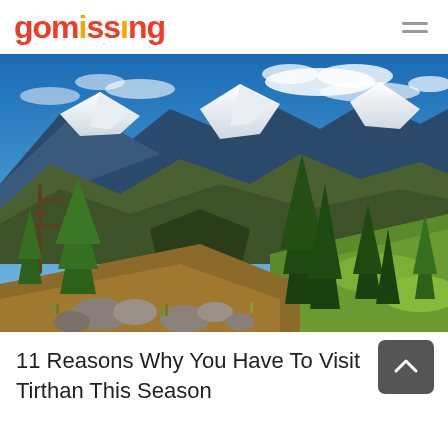gomissing
[Figure (photo): Mountain landscape with snow-capped peaks, conifer trees, green grass, rocks in the foreground, and blue sky with clouds — likely Tirthan Valley, Himachal Pradesh, India.]
11 Reasons Why You Have To Visit Tirthan This Season